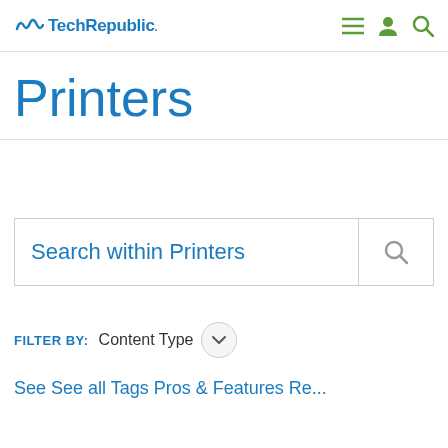TechRepublic
Printers
Search within Printers
FILTER BY: Content Type
See See all Tags Pros & Features Res...